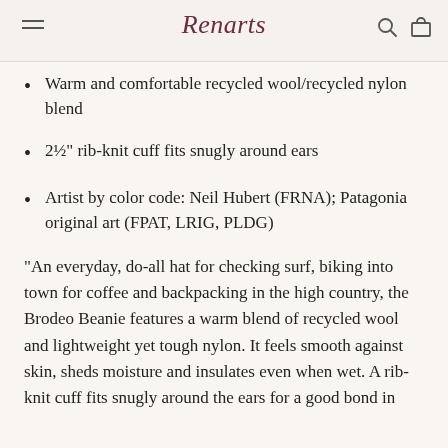Renarts
Warm and comfortable recycled wool/recycled nylon blend
2½" rib-knit cuff fits snugly around ears
Artist by color code: Neil Hubert (FRNA); Patagonia original art (FPAT, LRIG, PLDG)
"An everyday, do-all hat for checking surf, biking into town for coffee and backpacking in the high country, the Brodeo Beanie features a warm blend of recycled wool and lightweight yet tough nylon. It feels smooth against skin, sheds moisture and insulates even when wet. A rib-knit cuff fits snugly around the ears for a good bond in